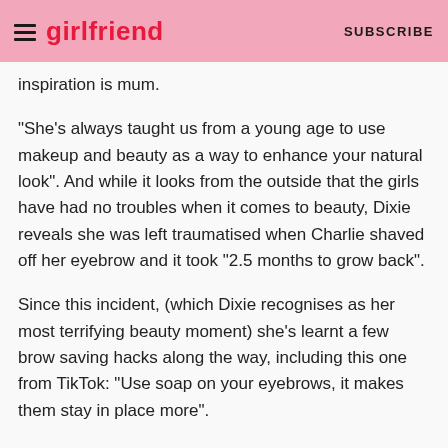girlfriend SUBSCRIBE
inspiration is mum.
“She’s always taught us from a young age to use makeup and beauty as a way to enhance your natural look”. And while it looks from the outside that the girls have had no troubles when it comes to beauty, Dixie reveals she was left traumatised when Charlie shaved off her eyebrow and it took “2.5 months to grow back”.
Since this incident, (which Dixie recognises as her most terrifying beauty moment) she’s learnt a few brow saving hacks along the way, including this one from TikTok: “Use soap on your eyebrows, it makes them stay in place more”.
And while they seem to have their ups and downs like any